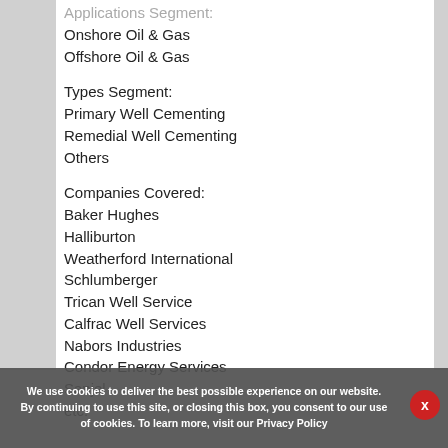Applications Segment: (partial, cut off at top)
Onshore Oil & Gas
Offshore Oil & Gas
Types Segment:
Primary Well Cementing
Remedial Well Cementing
Others
Companies Covered:
Baker Hughes
Halliburton
Weatherford International
Schlumberger
Trican Well Service
Calfrac Well Services
Nabors Industries
Condor Energy Services
Sanjel
etc.
We use cookies to deliver the best possible experience on our website. By continuing to use this site, or closing this box, you consent to our use of cookies. To learn more, visit our Privacy Policy